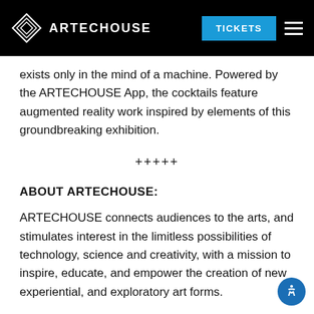ARTECHOUSE | TICKETS
exists only in the mind of a machine. Powered by the ARTECHOUSE App, the cocktails feature augmented reality work inspired by elements of this groundbreaking exhibition.
+++++
ABOUT ARTECHOUSE:
ARTECHOUSE connects audiences to the arts, and stimulates interest in the limitless possibilities of technology, science and creativity, with a mission to inspire, educate, and empower the creation of new experiential, and exploratory art forms.